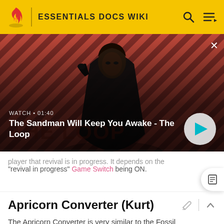ESSENTIALS DOCS WIKI
[Figure (screenshot): Video thumbnail showing a dark-cloaked figure with a raven on their shoulder against a red and black diagonal striped background. Overlay text shows WATCH • 01:40 and title 'The Sandman Will Keep You Awake - The Loop' with a play button on the right.]
player that revival is in progress. It depends on the "revival in progress" Game Switch being ON.
Apricorn Converter (Kurt)
The Apricorn Converter is very similar to the Fossil